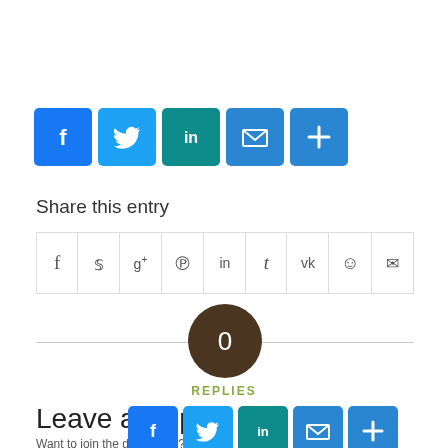[Figure (infographic): Row of social share buttons: Facebook (blue f), Twitter (blue bird), LinkedIn (teal in), Email (blue envelope), More (blue plus)]
Share this entry
| f | y | g+ | p | in | t | vk | reddit | envelope |
[Figure (infographic): Dark brown circle with '0' inside, labeled REPLIES below in olive/green text]
REPLIES
Leave a Reply
Want to join the discussion?
[Figure (infographic): Row of social share buttons at bottom: Facebook, Twitter, LinkedIn, Email, More]